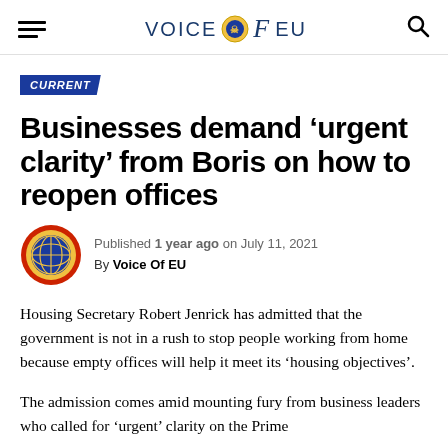VOICE of EU
CURRENT
Businesses demand ‘urgent clarity’ from Boris on how to reopen offices
Published 1 year ago on July 11, 2021
By Voice Of EU
Housing Secretary Robert Jenrick has admitted that the government is not in a rush to stop people working from home because empty offices will help it meet its ‘housing objectives’.
The admission comes amid mounting fury from business leaders who called for ‘urgent’ clarity on the Prime